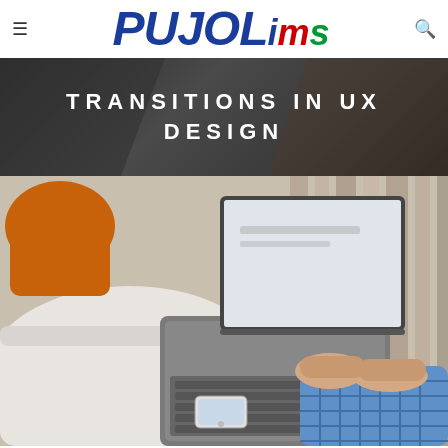[Figure (logo): PUJOL ims logo with hamburger menu icon on left and search icon on right]
TRANSITIONS IN UX DESIGN
[Figure (photo): Overhead view of a person in a blue checkered shirt lying on a white sofa, using a laptop. A smartphone is visible nearby on the cushion. A person in an orange shirt is partially visible in the background.]